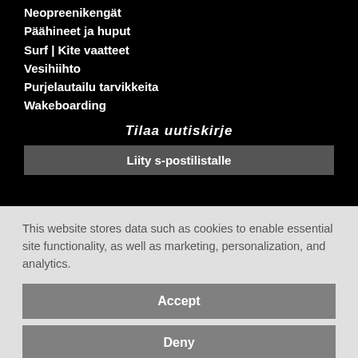Neopreenikengät
Päähineet ja huput
Surf | Kite vaatteet
Vesihiihto
Purjelautailu tarvikkeita
Wakeboarding
Tilaa uutiskirje
Liity s-postilistalle
This website stores data such as cookies to enable essential site functionality, as well as marketing, personalization, and analytics.
Accept
Deny